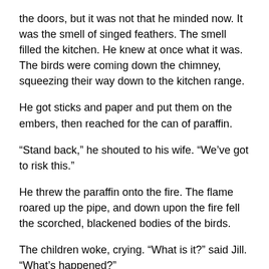the doors, but it was not that he minded now. It was the smell of singed feathers. The smell filled the kitchen. He knew at once what it was. The birds were coming down the chimney, squeezing their way down to the kitchen range.
He got sticks and paper and put them on the embers, then reached for the can of paraffin.
“Stand back,” he shouted to his wife. “We’ve got to risk this.”
He threw the paraffin onto the fire. The flame roared up the pipe, and down upon the fire fell the scorched, blackened bodies of the birds.
The children woke, crying. “What is it?” said Jill. “What’s happened?”